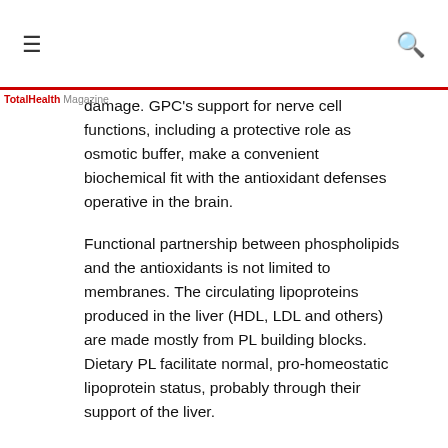≡  [search icon]
damage. GPC's support for nerve cell functions, including a protective role as osmotic buffer, make a convenient biochemical fit with the antioxidant defenses operative in the brain.
Functional partnership between phospholipids and the antioxidants is not limited to membranes. The circulating lipoproteins produced in the liver (HDL, LDL and others) are made mostly from PL building blocks. Dietary PL facilitate normal, pro-homeostatic lipoprotein status, probably through their support of the liver.
The LDL are the main vehicles for delivery of fat-soluble antioxidants—E, COQ, alpha-lipoic, carotenoids, others—to the tissues. In all of 12 double-blind trials, phospholipid mixtures lowered abnormally high total- and LDL- cholesterol without harming the HDL levels. In another double-blind trial,